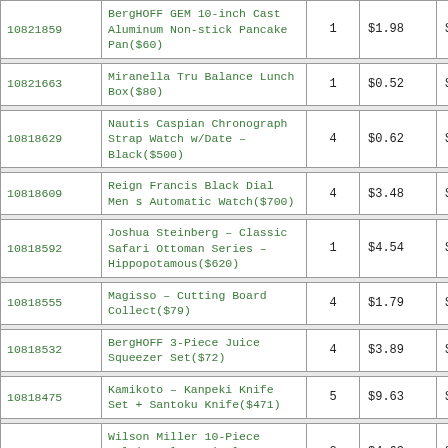| ID | Product | Qty | Price1 | Price2 |
| --- | --- | --- | --- | --- |
| 10821859 | BergHOFF GEM 10-inch Cast Aluminum Non-stick Pancake Pan($60) | 1 | $1.98 | $5.21 |
| 10821663 | Miranella Tru Balance Lunch Box($80) | 1 | $0.52 | $15.99 |
| 10818629 | Nautis Caspian Chronograph Strap Watch w/Date – Black($500) | 4 | $0.62 | $25.23 |
| 10818609 | Reign Francis Black Dial Men s Automatic Watch($700) | 4 | $3.48 | $15.41 |
| 10818592 | Joshua Steinberg – Classic Safari Ottoman Series – Hippopotamous($620) | 1 | $4.54 | $13.14 |
| 10818555 | Magisso – Cutting Board Collect($79) | 4 | $1.79 | $10.17 |
| 10818532 | BergHOFF 3-Piece Juice Squeezer Set($72) | 4 | $3.89 | $9.47 |
| 10818475 | Kamikoto – Kanpeki Knife Set + Santoku Knife($471) | 5 | $9.63 | $12.76 |
| 10818450 | Wilson Miller 10-Piece Multi Tool Tactical Blade($115) | 2 | $4.63 | $9.38 |